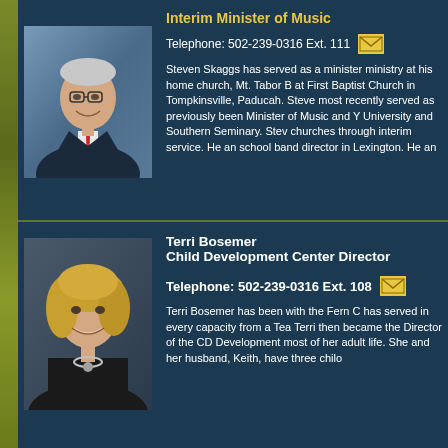Interim Minister of Music
[Figure (photo): Professional headshot of an older man in a dark suit with a red tie, smiling]
Telephone: 502-239-0316 Ext. 111
Steven Skaggs has served as a minister ministry at his home church, Mt. Tabor B at First Baptist Church in Tompkinsville, Paducah. Steve most recently served as previously been Minister of Music and Y University and Southern Seminary. Stev churches through interim service. He an school band director in Lexington. He an
Terri Bosemer
Child Development Center Director
[Figure (photo): Professional headshot of a woman with blonde hair, wearing a black top and silver necklace, smiling]
Telephone: 502-239-0316 Ext. 108
Terri Bosemer has been with the Fern C has served in every capacity from a Tea Terri then became the Director of the CD Development most of her adult life. She and her husband, Keith, have three chilo